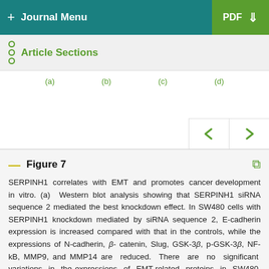+ Journal Menu   PDF ↓
Article Sections
[Figure (other): Multi-panel figure with sub-panels labeled (a), (b), (c), (d) with navigation arrows]
Figure 7 SERPINH1 correlates with EMT and promotes cancer development in vitro. (a) Western blot analysis showing that SERPINH1 siRNA sequence 2 mediated the best knockdown effect. In SW480 cells with SERPINH1 knockdown mediated by siRNA sequence 2, E-cadherin expression is increased compared with that in the controls, while the expressions of N-cadherin, β-catenin, Slug, GSK-3β, p-GSK-3β, NF-kB, MMP9, and MMP14 are reduced. There are no significant variations in the expressions of EMT-related proteins in SW480 cells with SERPINH1 knockdown mediated by siRNA sequences 1 and 3. (b) Etcetera...